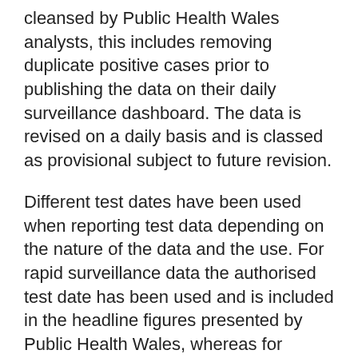COVID-19 testing data. The data is accessed and cleansed by Public Health Wales analysts, this includes removing duplicate positive cases prior to publishing the data on their daily surveillance dashboard. The data is revised on a daily basis and is classed as provisional subject to future revision.
Different test dates have been used when reporting test data depending on the nature of the data and the use. For rapid surveillance data the authorised test date has been used and is included in the headline figures presented by Public Health Wales, whereas for detailed surveillance over time the specimen date has been used.
Further information can be found in our data explainer: Understanding data on coronavirus (COVID-19) testing.